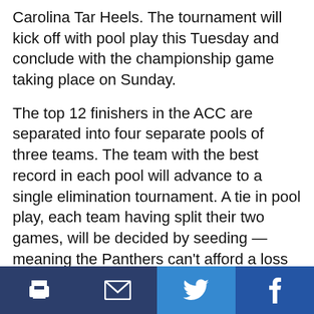Carolina Tar Heels. The tournament will kick off with pool play this Tuesday and conclude with the championship game taking place on Sunday.
The top 12 finishers in the ACC are separated into four separate pools of three teams. The team with the best record in each pool will advance to a single elimination tournament. A tie in pool play, each team having split their two games, will be decided by seeding — meaning the Panthers can't afford a loss as the lowest seeded team in their pool.
Pool C features some familiar foes for the Panthers. Pitt and the Tar Heels faced off in mid-April, with the Panthers taking two of three in a series at home — including a doubleheader sweep. The Tar Heels had no answer for the stellar junior pitching duo of Mitch
Print | Email | Twitter | Facebook